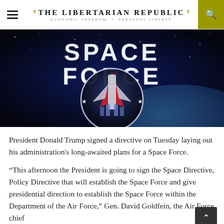THE LIBERTARIAN REPUBLIC — ECONOMIC FREEDOM + PERSONAL LIBERTY
[Figure (photo): Space Force logo/emblem on a dark space background with a planet and stars. Large text reads 'SPACE FORCE' with a stylized rocket/shuttle emblem in the center.]
President Donald Trump signed a directive on Tuesday laying out his administration's long-awaited plans for a Space Force.
“This afternoon the President is going to sign the Space Directive, Policy Directive that will establish the Space Force and give presidential direction to establish the Space Force within the Department of the Air Force,” Gen. David Goldfein, the Air Force chief